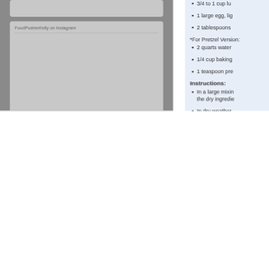[Figure (other): Top card placeholder image (gray rectangle)]
FoodPusherKelly on Instagram
[Figure (photo): Instagram photo card with FoodPusherKelly content area (large gray rectangle)]
[Figure (other): Bottom card placeholder (gray rectangle)]
3/4 to 1 cup lukewarm water
1 large egg, lightly beaten
2 tablespoons
*For Pretzel Version:
2 quarts water
1/4 cup baking
1 teaspoon pre
Instructions:
In a large mixing bowl, combine the dry ingredients
In dry weather, add more of the water. Also
Mix and knead
Place dough in a greased bowl until about dou
Once dough h